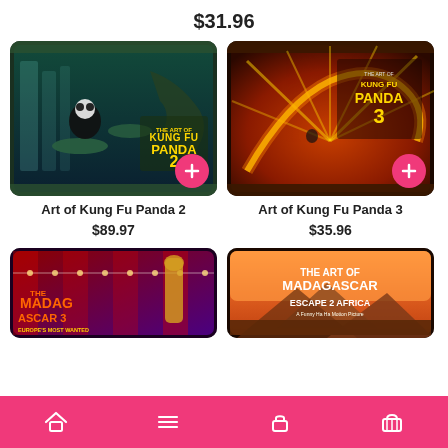$31.96
[Figure (illustration): Art of Kung Fu Panda 2 book cover showing a panda and dragon scene]
Art of Kung Fu Panda 2
$89.97
[Figure (illustration): Art of Kung Fu Panda 3 book cover showing fiery dragon art]
Art of Kung Fu Panda 3
$35.96
[Figure (illustration): Madagascar 3: Europe's Most Wanted book cover]
[Figure (illustration): Madagascar: Escape 2 Africa book cover]
Home | Menu | Login | Cart